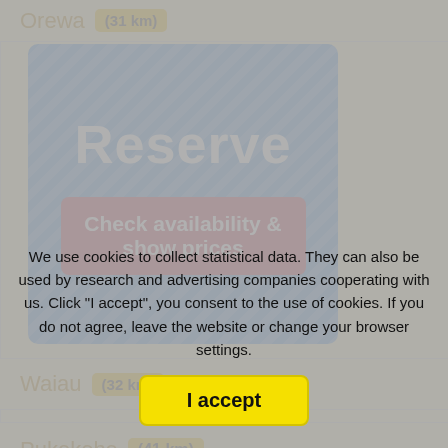Orewa (31 km)
[Figure (screenshot): Blue diagonal-striped Reserve panel with 'Reserve' title and 'Check availability & show prices' red button]
Waiau (32 km)
Pukekohe (41 km)
[Figure (photo): Light blue section with image placeholder at bottom]
We use cookies to collect statistical data. They can also be used by research and advertising companies cooperating with us. Click "I accept", you consent to the use of cookies. If you do not agree, leave the website or change your browser settings.
I accept